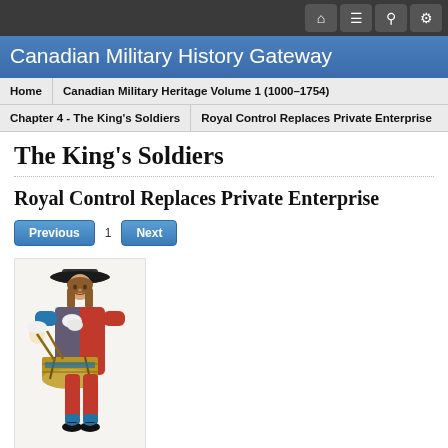Canadian Military History Gateway
Home | Canadian Military Heritage Volume 1 (1000–1754) | Chapter 4 - The King's Soldiers | Royal Control Replaces Private Enterprise
The King's Soldiers
Royal Control Replaces Private Enterprise
[Figure (illustration): Full-body illustration of a 17th-century French military drummer in ornate red, blue and white uniform with a drum, wearing a black hat]